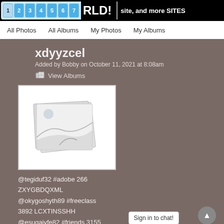RLD! site, and more SITES
All Photos   All Albums   My Photos   My Albums
xdyyzcel
Added by Bobby on October 11, 2021 at 8:08am
View Albums
[Figure (photo): Placeholder image thumbnail showing stacked photos with a beach/landscape scene]
@tegiduf32 #adobe 266 ZXYGBDQXML
@okygoshyth89 #freeclass
3892 LCXTINSSHH
@esuqajyfe82 #friends 3155
Sign in to chat!